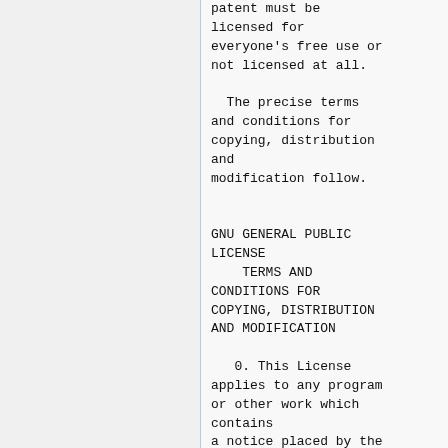patent must be licensed for everyone's free use or not licensed at all.
The precise terms and conditions for copying, distribution and modification follow.
GNU GENERAL PUBLIC LICENSE
    TERMS AND CONDITIONS FOR COPYING, DISTRIBUTION AND MODIFICATION
0. This License applies to any program or other work which contains a notice placed by the copyright holder